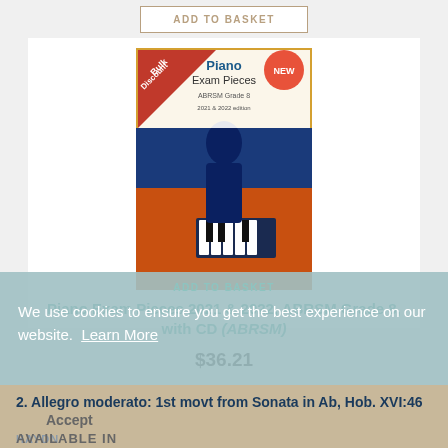[Figure (screenshot): Add to Basket button at top of page, bordered in tan/gold color]
[Figure (photo): Book cover for Piano Exam Pieces 2021 & 2022, ABRSM Grade 8, with CD. Cover shows a pianist silhouette with red Bulk Discount ribbon and NEW badge.]
Piano Exam Pieces 2021 & 2022, ABRSM Grade 8, with CD (ABRSM)
$36.21
ADD TO BASKET
We use cookies to ensure you get the best experience on our website.  Learn More
2. Allegro moderato: 1st movt from Sonata in Ab, Hob. XVI:46
Accept
HAYDN
AVAILABLE IN